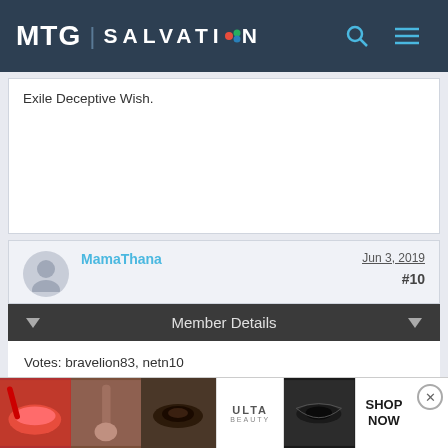MTG SALVATION
Exile Deceptive Wish.
MamaThana  Jun 3, 2019  #10
Member Details
Votes: bravelion83, netn10
[Figure (other): ULTA beauty advertisement banner at the bottom of the page showing makeup product images and SHOP NOW call to action]